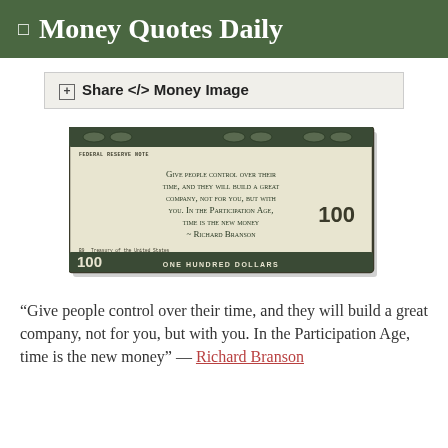Money Quotes Daily
⊞ Share </> Money Image
[Figure (illustration): A $100 US dollar bill design with a quote by Richard Branson printed in the center: 'Give people control over their time, and they will build a great company, not for you, but with you. In the Participation Age, time is the new money ~ Richard Branson'. The bill has green decorative borders, '100' numerals, and 'ONE HUNDRED DOLLARS' on the bottom strip.]
“Give people control over their time, and they will build a great company, not for you, but with you. In the Participation Age, time is the new money” — Richard Branson